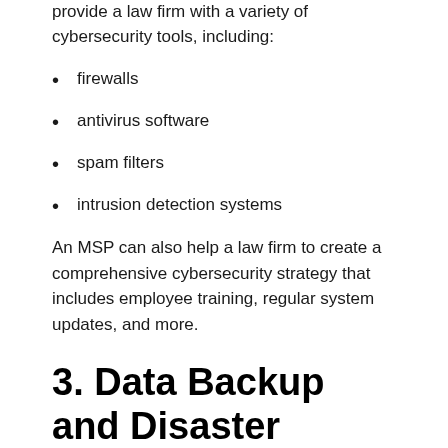provide a law firm with a variety of cybersecurity tools, including:
firewalls
antivirus software
spam filters
intrusion detection systems
An MSP can also help a law firm to create a comprehensive cybersecurity strategy that includes employee training, regular system updates, and more.
3. Data Backup and Disaster Recovery
When it comes to data backup and disaster